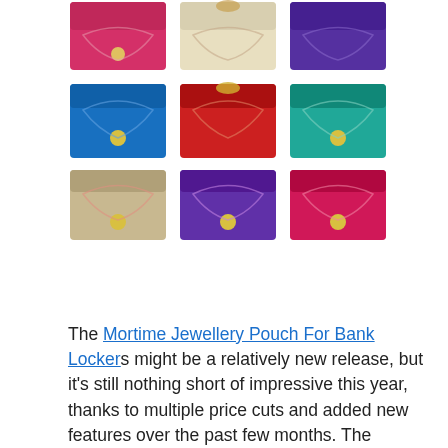[Figure (photo): Grid of 9 colorful embroidered silk jewellery pouches with floral patterns in various colors including pink, cream, blue, red, teal, beige, purple, and hot pink, each with a decorative button clasp.]
Buy on Amazon
The Mortime Jewellery Pouch For Bank Lockers might be a relatively new release, but it's still nothing short of impressive this year, thanks to multiple price cuts and added new features over the past few months. The mortime jewellery pouch for bank locker makes for a beautiful presentation, is super cute, It makes for a nice